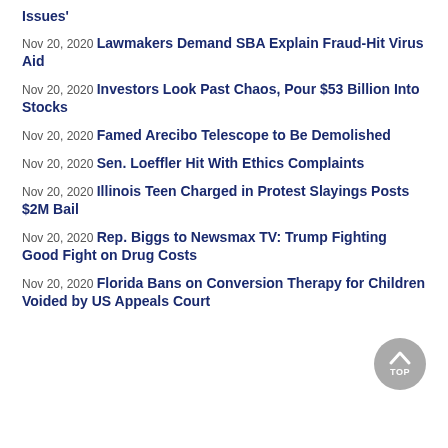Issues'
Nov 20, 2020 Lawmakers Demand SBA Explain Fraud-Hit Virus Aid
Nov 20, 2020 Investors Look Past Chaos, Pour $53 Billion Into Stocks
Nov 20, 2020 Famed Arecibo Telescope to Be Demolished
Nov 20, 2020 Sen. Loeffler Hit With Ethics Complaints
Nov 20, 2020 Illinois Teen Charged in Protest Slayings Posts $2M Bail
Nov 20, 2020 Rep. Biggs to Newsmax TV: Trump Fighting Good Fight on Drug Costs
Nov 20, 2020 Florida Bans on Conversion Therapy for Children Voided by US Appeals Court